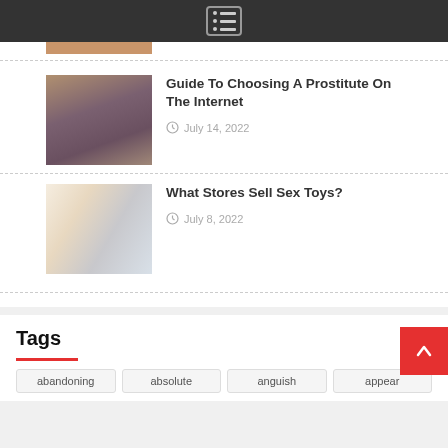Navigation menu bar
[Figure (photo): Partial thumbnail image at top]
Guide To Choosing A Prostitute On The Internet
July 14, 2022
What Stores Sell Sex Toys?
July 8, 2022
Tags
abandoning
absolute
anguish
appear